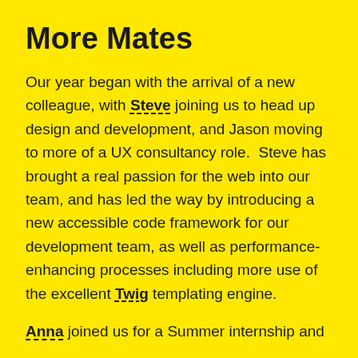More Mates
Our year began with the arrival of a new colleague, with Steve joining us to head up design and development, and Jason moving to more of a UX consultancy role.  Steve has brought a real passion for the web into our team, and has led the way by introducing a new accessible code framework for our development team, as well as performance-enhancing processes including more use of the excellent Twig templating engine.
Anna joined us for a Summer internship and